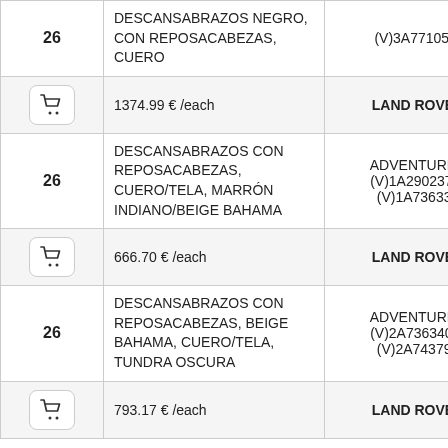| # | Description | Code/Brand |
| --- | --- | --- |
| 26 | DESCANSABRAZOS NEGRO, CON REPOSACABEZAS, CUERO | (V)3A771055- |
| [cart] | 1374.99 € /each | LAND ROVER |
| 26 | DESCANSABRAZOS CON REPOSACABEZAS, CUERO/TELA, MARRÓN INDIANO/BEIGE BAHAMA | ADVENTURER (V)1A290237- - (V)1A736339 |
| [cart] | 666.70 € /each | LAND ROVER |
| 26 | DESCANSABRAZOS CON REPOSACABEZAS, BEIGE BAHAMA, CUERO/TELA, TUNDRA OSCURA | ADVENTURER (V)2A736340- - (V)2A743797 |
| [cart] | 793.17 € /each | LAND ROVER |